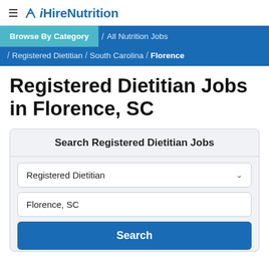≡ iHireNutrition
Browse By Category / All Nutrition Jobs / Registered Dietitian / South Carolina / Florence
Registered Dietitian Jobs in Florence, SC
Search Registered Dietitian Jobs — Registered Dietitian [dropdown] — Florence, SC [input] — Search [button]